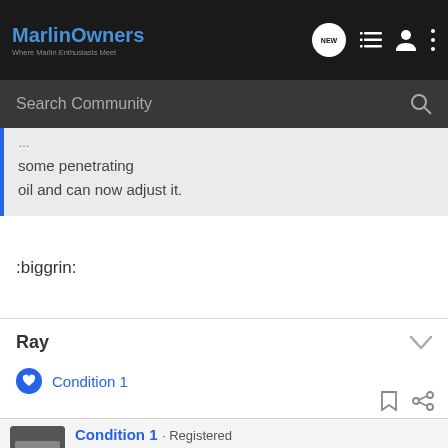MarlinOwners — Where Marlin Enthusiasts Meet
Search Community
some penetrating
oil and can now adjust it.
:biggrin:
Ray
Condition 1
Condition 1 · Registered